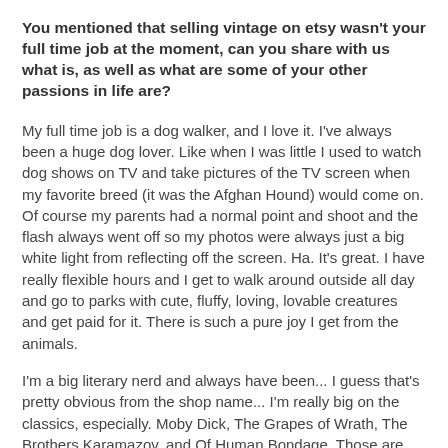You mentioned that selling vintage on etsy wasn't your full time job at the moment, can you share with us what is, as well as what are some of your other passions in life are?
My full time job is a dog walker, and I love it. I've always been a huge dog lover. Like when I was little I used to watch dog shows on TV and take pictures of the TV screen when my favorite breed (it was the Afghan Hound) would come on. Of course my parents had a normal point and shoot and the flash always went off so my photos were always just a big white light from reflecting off the screen. Ha. It's great. I have really flexible hours and I get to walk around outside all day and go to parks with cute, fluffy, loving, lovable creatures and get paid for it. There is such a pure joy I get from the animals.
I'm a big literary nerd and always have been... I guess that's pretty obvious from the shop name... I'm really big on the classics, especially. Moby Dick, The Grapes of Wrath, The Brothers Karamazov, and Of Human Bondage. Those are probably my top four. I also love Shakespeare, Edith